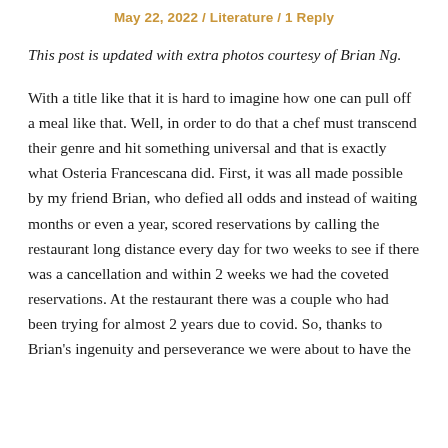May 22, 2022 / Literature / 1 Reply
This post is updated with extra photos courtesy of Brian Ng.
With a title like that it is hard to imagine how one can pull off a meal like that. Well, in order to do that a chef must transcend their genre and hit something universal and that is exactly what Osteria Francescana did. First, it was all made possible by my friend Brian, who defied all odds and instead of waiting months or even a year, scored reservations by calling the restaurant long distance every day for two weeks to see if there was a cancellation and within 2 weeks we had the coveted reservations. At the restaurant there was a couple who had been trying for almost 2 years due to covid. So, thanks to Brian's ingenuity and perseverance we were about to have the